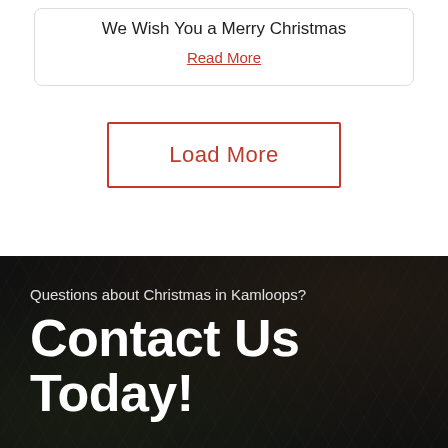We Wish You a Merry Christmas
Read More
Load More
Questions about Christmas in Kamloops?
Contact Us Today!